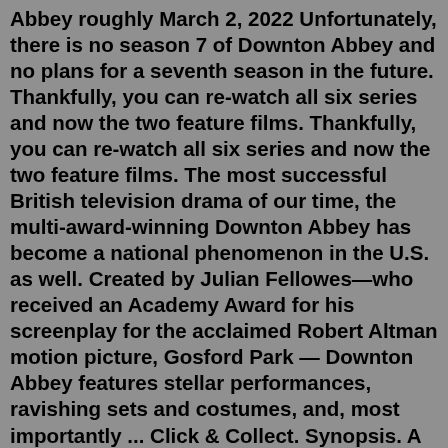Abbey roughly March 2, 2022  Unfortunately, there is no season 7 of Downton Abbey and no plans for a seventh season in the future. Thankfully, you can re-watch all six series and now the two feature films. Thankfully, you can re-watch all six series and now the two feature films. The most successful British television drama of our time, the multi-award-winning Downton Abbey has become a national phenomenon in the U.S. as well. Created by Julian Fellowes—who received an Academy Award for his screenplay for the acclaimed Robert Altman motion picture, Gosford Park — Downton Abbey features stellar performances, ravishing sets and costumes, and, most importantly ... Click & Collect. Synopsis. A perfect gift for Downton Abbey fans, the official film companion provides a unique, behind-the-scenes look at the art and making of the sequel to the globally successful Downton Abbey film. The worldwide phenomenon and multi-award winning Downton Abbey returns to the big screen with a movie sequel starring the ...There is not yet a digital or VOD